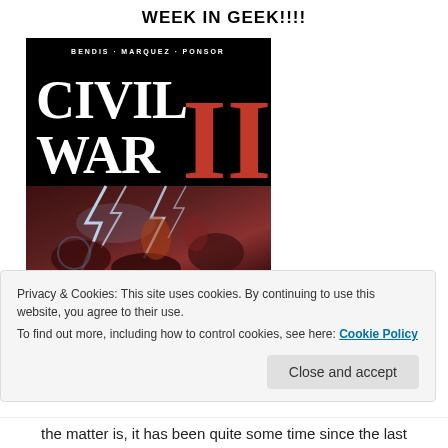WEEK IN GEEK!!!!
[Figure (illustration): Civil War II comic book cover showing BENDIS · MARQUEZ · PONSOR credits at top, large white CIVIL WAR text with red II numerals, and action scene below with Marvel superheroes fighting amid lightning bolts]
Privacy & Cookies: This site uses cookies. By continuing to use this website, you agree to their use.
To find out more, including how to control cookies, see here: Cookie Policy
Close and accept
the matter is, it has been quite some time since the last